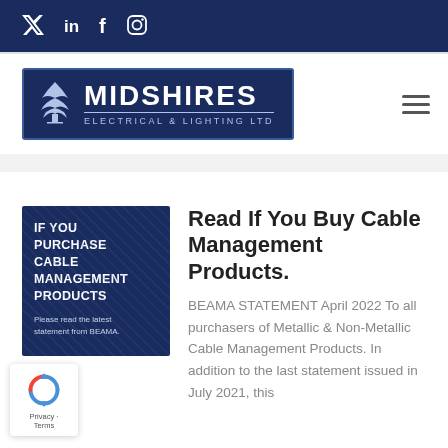Social media icons: Twitter, LinkedIn, Facebook, Instagram
[Figure (logo): Midshires Electrical & Lighting Ltd company logo — dark navy blue box with tree icon and company name in white text]
Read If You Buy Cable Management Products.
[Figure (photo): Dark blue promotional image with text: IF YOU PURCHASE CABLE MANAGEMENT PRODUCTS. Please read the latest statement from BEAMA.]
BEAMA STATEMENT April 2022 To all purchasers of Metallic & Non-Metallic Cable Management Products. In addition to the last statement issued in July 2021, this